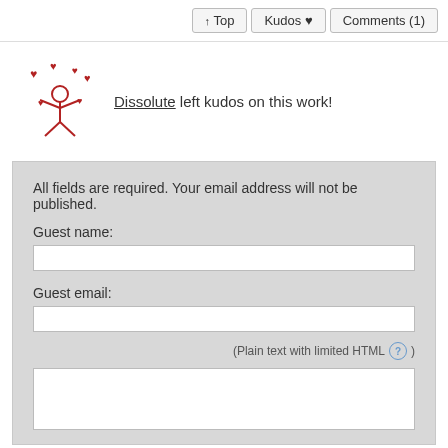↑ Top   Kudos ♥   Comments (1)
Dissolute left kudos on this work!
All fields are required. Your email address will not be published.
Guest name:
Guest email:
(Plain text with limited HTML ?)